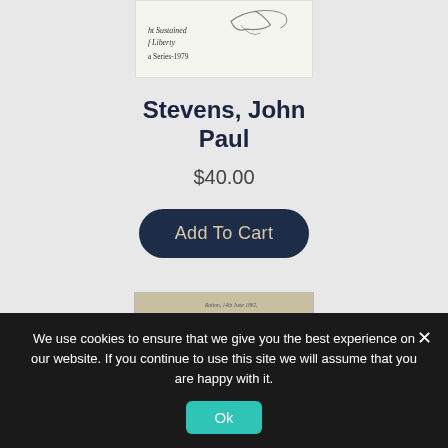[Figure (photo): Top portion of a product image showing a signed document or book cover with text 'ht Sustained f Liberty a Series-1979' and a cursive signature]
Stevens, John Paul
$40.00
Add To Cart
[Figure (photo): Bottom product image showing a handwritten letter or document on aged paper]
We use cookies to ensure that we give you the best experience on our website. If you continue to use this site we will assume that you are happy with it.
Ok